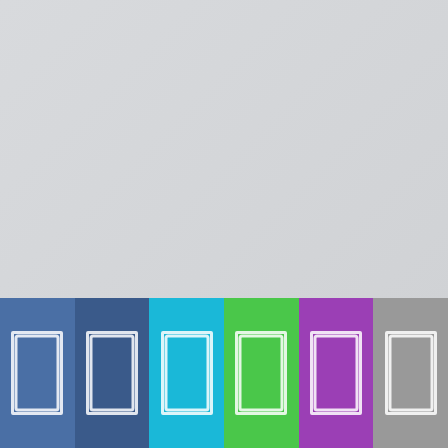the German-Austrian behind his desk, we file. I had never se Hitler was reading nearly gave way. T that I was drafted t of me", he said, so l
Otto started to
Otto Rahn por el Sec
[Figure (illustration): Black and white illustration/drawing partially visible at bottom right]
[Figure (infographic): Bottom navigation bar with six colored rectangles (blue, dark blue, cyan, green, purple, gray) each containing a white-outlined rectangle icon]